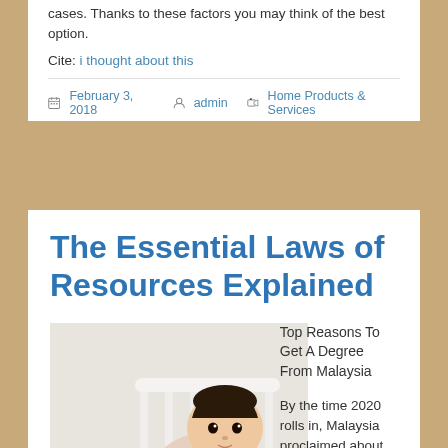cases. Thanks to these factors you may think of the best option.
Cite: i thought about this
February 3, 2018   admin   Home Products & Services
The Essential Laws of Resources Explained
[Figure (photo): A baby in a red and white striped outfit standing in a white crib, looking at the camera.]
Top Reasons To Get A Degree From Malaysia
By the time 2020 rolls in, Malaysia proclaimed about 25 years